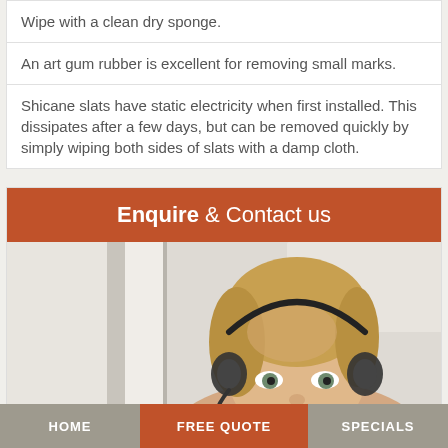Wipe with a clean dry sponge.
An art gum rubber is excellent for removing small marks.
Shicane slats have static electricity when first installed. This dissipates after a few days, but can be removed quickly by simply wiping both sides of slats with a damp cloth.
Enquire & Contact us
[Figure (photo): Customer service agent (woman with headset) in a bright office environment]
HOME   FREE QUOTE   SPECIALS